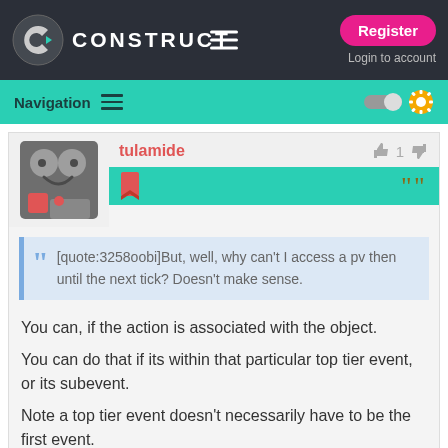CONSTRUCT — Register / Login to account
Navigation
tulamide
[quote:3258oobi]But, well, why can't I access a pv then until the next tick? Doesn't make sense.
You can, if the action is associated with the object.
You can do that if its within that particular top tier event, or its subevent.
Note a top tier event doesn't necessarily have to be the first event.